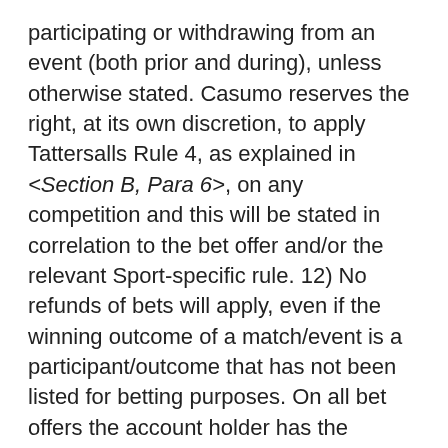participating or withdrawing from an event (both prior and during), unless otherwise stated. Casumo reserves the right, at its own discretion, to apply Tattersalls Rule 4, as explained in <Section B, Para 6>, on any competition and this will be stated in correlation to the bet offer and/or the relevant Sport-specific rule. 12) No refunds of bets will apply, even if the winning outcome of a match/event is a participant/outcome that has not been listed for betting purposes. On all bet offers the account holder has the possibility to ask for a price on a non-listed participant/outcome. Casumo reserves the right, at its own discretion, to decline such requests. 13) In case a participant is disqualified/withheld/banned from taking part in a subsequent part/phase of an event/competition, the disqualification will be considered to have taken place at the time of the participant's removal from the event. No alterations will be made to previous results, regardless of any modifications